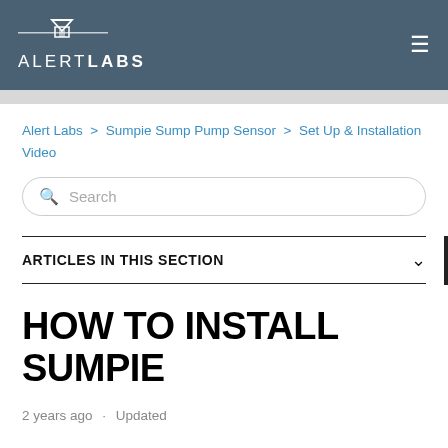ALERT LABS
Alert Labs > Sumpie Sump Pump Sensor > Set Up & Installation Video
Search
ARTICLES IN THIS SECTION
HOW TO INSTALL SUMPIE
2 years ago · Updated